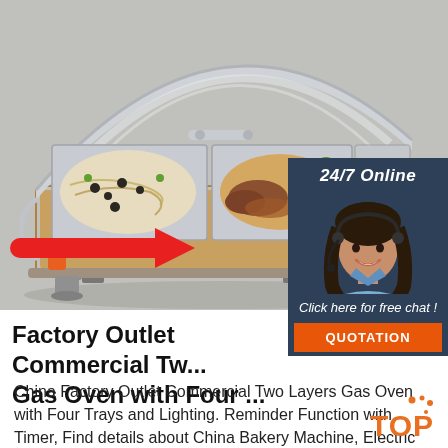[Figure (photo): A stainless steel commercial chafing dish / food warmer with open lid, containing multiple food trays with cooked food items. A red arrow points to the left side of the dish. The background is grey.]
[Figure (photo): 24/7 Online support widget with a female customer service agent wearing a headset, dark background with '24/7 Online' text at top, 'Click here for free chat!' text and an orange QUOTATION button at bottom.]
Factory Outlet Commercial Tw... Gas Oven with Four ...
China Factory Outlet Commercial Two Layers Gas Oven with Four Trays and Lighting. Reminder Function with Timer, Find details about China Bakery Machine, Electric Oven from
[Figure (logo): TOP badge with orange dots and orange bold TOP text]